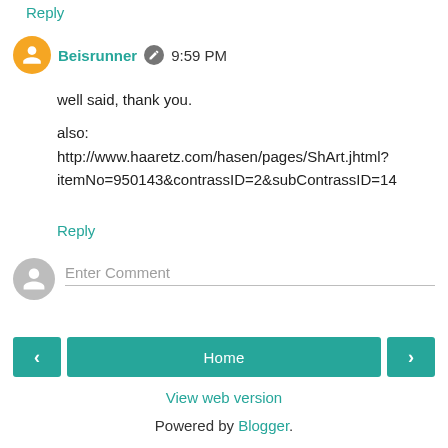Reply
Beisrunner  9:59 PM
well said, thank you.

also:
http://www.haaretz.com/hasen/pages/ShArt.jhtml?itemNo=950143&contrassID=2&subContrassID=14
Reply
Enter Comment
Home
View web version
Powered by Blogger.